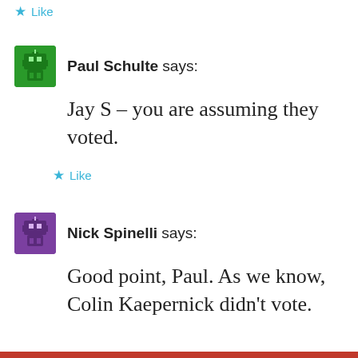Like
Paul Schulte says:
Jay S – you are assuming they voted.
Like
Nick Spinelli says:
Good point, Paul. As we know, Colin Kaepernick didn't vote.